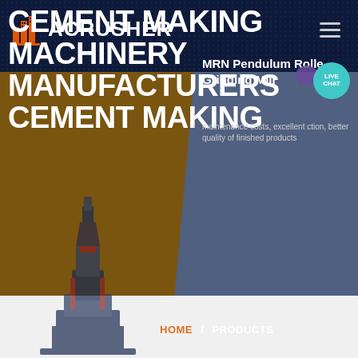ACRUSHER
CEMENT MAKING MACHINERY MANUFACTURERS CEMENT MAKING
MRN Pendulum Roller Grinding Mill
maintenance costs, excellent ction, better quality of finished products
HOME / PRODUCTS
[Figure (screenshot): ACrusher website hero section showing cement making machinery with navy header, diagonal split background and industrial grinding mill machine image]